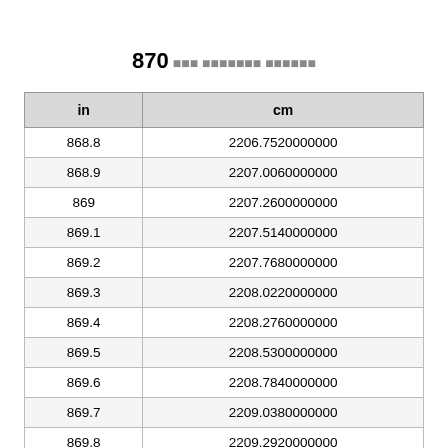870 inches to centimeters conversion
| in | cm |
| --- | --- |
| 868.8 | 2206.7520000000 |
| 868.9 | 2207.0060000000 |
| 869 | 2207.2600000000 |
| 869.1 | 2207.5140000000 |
| 869.2 | 2207.7680000000 |
| 869.3 | 2208.0220000000 |
| 869.4 | 2208.2760000000 |
| 869.5 | 2208.5300000000 |
| 869.6 | 2208.7840000000 |
| 869.7 | 2209.0380000000 |
| 869.8 | 2209.2920000000 |
| 869.9 | 2209.5460000000 |